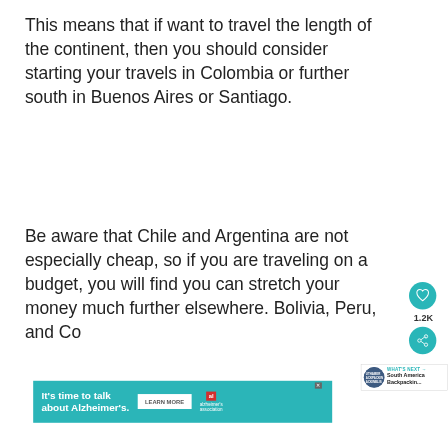This means that if want to travel the length of the continent, then you should consider starting your travels in Colombia or further south in Buenos Aires or Santiago.
Be aware that Chile and Argentina are not especially cheap, so if you are traveling on a budget, you will find you can stretch your money much further elsewhere. Bolivia, Peru, and Co...
[Figure (other): Heart/like button (teal circle with heart icon) and share button with 1.2K count, plus a 'What's Next' recommendation box showing South America Backpackin...]
[Figure (other): Advertisement banner: 'It's time to talk about Alzheimer's.' with LEARN MORE button and Alzheimer's association logo on teal background]